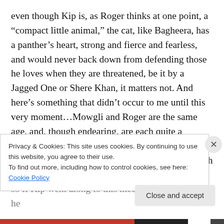even though Kip is, as Roger thinks at one point, a “compact little animal,” the cat, like Bagheera, has a panther’s heart, strong and fierce and fearless, and would never back down from defending those he loves when they are threatened, be it by a Jagged One or Shere Khan, it matters not. And here’s something that didn’t occur to me until this very moment…Mowgli and Roger are the same age, and, though endearing, are each quite a handful—not to mention that there are forces at work that would love nothing more than to see both boys dead
so if Kip went along to this meeting, ye gods would he
Privacy & Cookies: This site uses cookies. By continuing to use this website, you agree to their use.
To find out more, including how to control cookies, see here: Cookie Policy
Close and accept